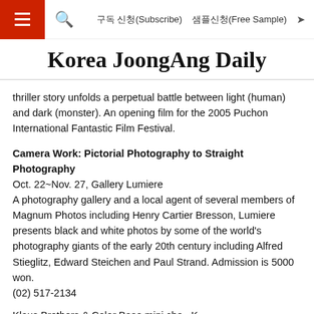≡  🔍  구독 신청(Subscribe)  샘플신청(Free Sample)  ↗
Korea JoongAng Daily
thriller story unfolds a perpetual battle between light (human) and dark (monster). An opening film for the 2005 Puchon International Fantastic Film Festival.
Camera Work: Pictorial Photography to Straight Photography
Oct. 22~Nov. 27, Gallery Lumiere
A photography gallery and a local agent of several members of Magnum Photos including Henry Cartier Bresson, Lumiere presents black and white photos by some of the world's photography giants of the early 20th century including Alfred Stieglitz, Edward Steichen and Paul Strand. Admission is 5000 won.
(02) 517-2134
Klaus Brothers & Color Bases mini-chord K...